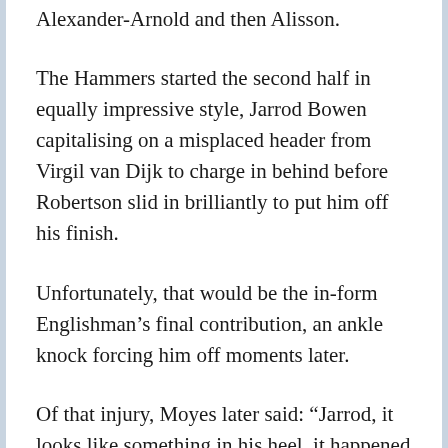Alexander-Arnold and then Alisson.
The Hammers started the second half in equally impressive style, Jarrod Bowen capitalising on a misplaced header from Virgil van Dijk to charge in behind before Robertson slid in brilliantly to put him off his finish.
Unfortunately, that would be the in-form Englishman’s final contribution, an ankle knock forcing him off moments later.
Of that injury, Moyes later said: “Jarrod, it looks like something in his heel, it happened in a tackle with Andy Robertson. We’ll get him scanned, check what it is.”